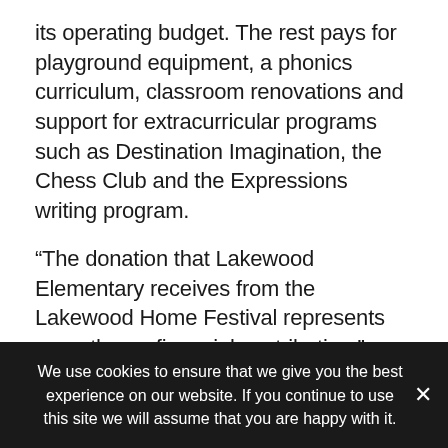its operating budget. The rest pays for playground equipment, a phonics curriculum, classroom renovations and support for extracurricular programs such as Destination Imagination, the Chess Club and the Expressions writing program.
“The donation that Lakewood Elementary receives from the Lakewood Home Festival represents more than a financial contribution,” says Lakewood Elementary principal Michelle Thompson. “The donation helps us achieve our mission of academic
We use cookies to ensure that we give you the best experience on our website. If you continue to use this site we will assume that you are happy with it.